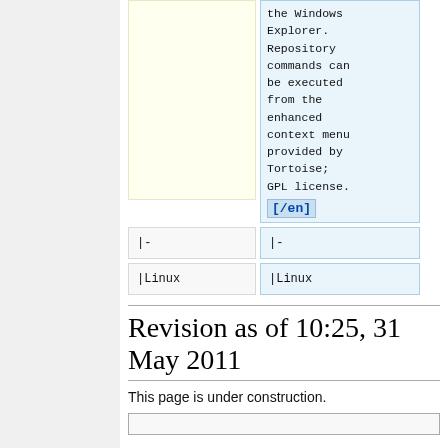the Windows Explorer. Repository commands can be executed from the enhanced context menu provided by Tortoise; GPL license. [/en]
|-
|-
|Linux
|Linux
Revision as of 10:25, 31 May 2011
This page is under construction.